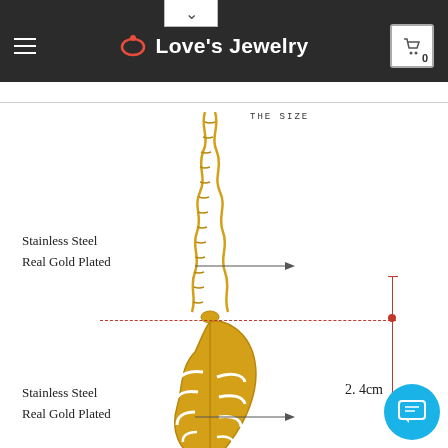Love's Jewelry
[Figure (photo): Product page showing a gold stainless steel leaf pendant necklace with size annotations. The necklace has a braided gold chain and a monstera leaf shaped pendant. Annotations indicate 'Stainless Steel Real Gold Plated' for both chain and pendant. A dashed red horizontal line and vertical red line indicate the 2.4cm pendant size.]
THE SIZE
Stainless Steel
Real Gold Plated
Stainless Steel
Real Gold Plated
2. 4cm